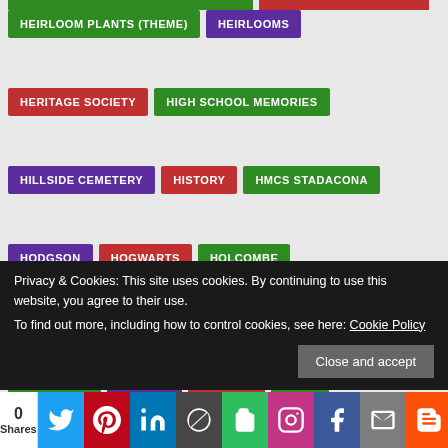HEIRLOOM PLANTS (THEME)
HEIRLOOMS
HERITAGE SOCIETY
HIGH SCHOOL MEMORIES
HILLSIDE CEMETERY
HISTORY
HMCS STADACONA
HODGSON
HOGWARTS
HOLCOMBE
HOMESTEAD BURIALS
HONORARY MEMBER
HOOTSUITE
HORTON
HOT TUB
ILOTT
IMMIGRANT
IMMIGRANT ANCESTORS
INCORRECT CITATIONS
INDENTURED
INDENTURED SERVANT
INDEX
Privacy & Cookies: This site uses cookies. By continuing to use this website, you agree to their use. To find out more, including how to control cookies, see here: Cookie Policy
Close and accept
0 Shares